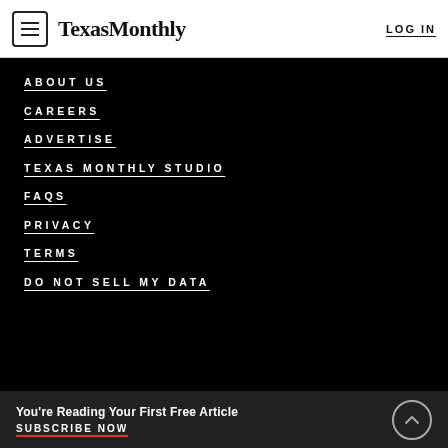Texas Monthly  LOG IN
ABOUT US
CAREERS
ADVERTISE
TEXAS MONTHLY STUDIO
FAQS
PRIVACY
TERMS
DO NOT SELL MY DATA
You're Reading Your First Free Article
SUBSCRIBE NOW